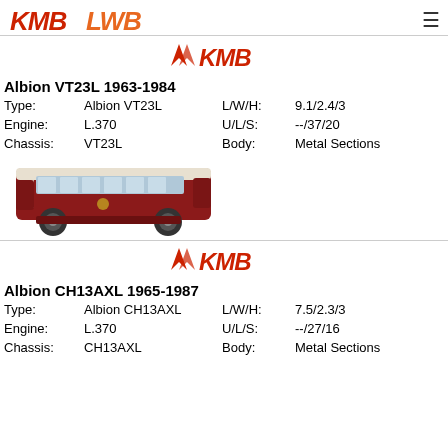KMB LWB
[Figure (logo): KMB logo with stylized emblem and text]
Albion VT23L 1963-1984
| Type: | Albion VT23L | L/W/H: | 9.1/2.4/3 |
| Engine: | L.370 | U/L/S: | --/37/20 |
| Chassis: | VT23L | Body: | Metal Sections |
[Figure (photo): Side view of a red and cream KMB Albion VT23L bus]
[Figure (logo): KMB logo with stylized emblem and text]
Albion CH13AXL 1965-1987
| Type: | Albion CH13AXL | L/W/H: | 7.5/2.3/3 |
| Engine: | L.370 | U/L/S: | --/27/16 |
| Chassis: | CH13AXL | Body: | Metal Sections |